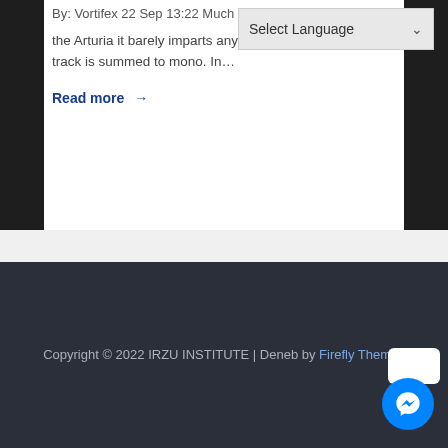By: Vortifex 22 Sep 13:22 Much less subtle than the Arturia the Arturia it barely imparts any of its character when the track is summed to mono. In…
Read more →
Copyright © 2022 IRZU INSTITUTE | Deneb by Firefly Themes